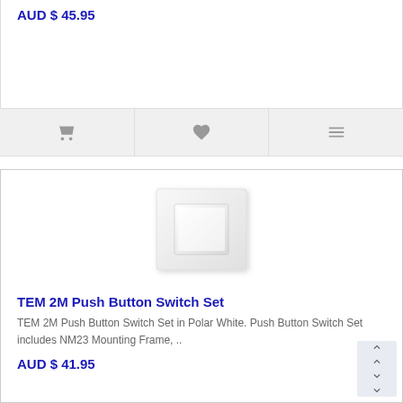AUD $ 45.95
[Figure (screenshot): Action bar with cart icon, heart/wishlist icon, and compare icon on gray background]
[Figure (photo): TEM 2M Push Button Switch Set product image showing a white square push button switch on a white plate]
TEM 2M Push Button Switch Set
TEM 2M Push Button Switch Set in Polar White. Push Button Switch Set includes NM23 Mounting Frame, ..
AUD $ 41.95